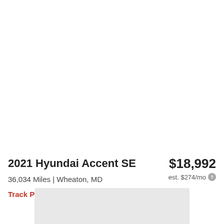Filter | Sort | Save
2021 Hyundai Accent SE
$18,992
36,034 Miles | Wheaton, MD
est. $274/mo
Track Price
Check Availability